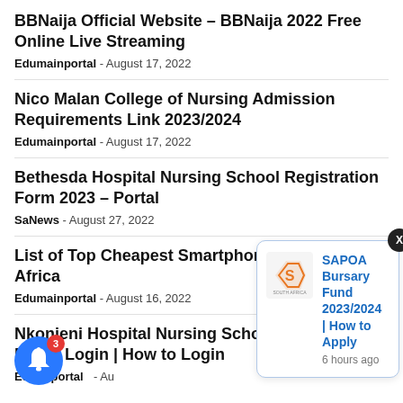BBNaija Official Website – BBNaija 2022 Free Online Live Streaming
Edumainportal - August 17, 2022
Nico Malan College of Nursing Admission Requirements Link 2023/2024
Edumainportal - August 17, 2022
Bethesda Hospital Nursing School Registration Form 2023 – Portal
SaNews - August 27, 2022
List of Top Cheapest Smartphones in South Africa
Edumainportal - August 16, 2022
Nkonjeni Hospital Nursing School Student Portal Login | How to Login
Edumainportal - Au...
[Figure (infographic): SAPOA notification popup showing logo and text: SAPOA Bursary Fund 2023/2024 | How to Apply, 6 hours ago]
[Figure (infographic): Blue circular notification bell button with red badge showing number 3]